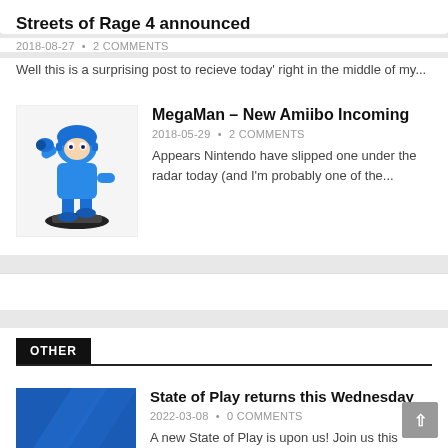Streets of Rage 4 announced
2018-08-27 • 2 COMMENTS
Well this is a surprising post to recieve today' right in the middle of my...
[Figure (illustration): MegaMan amiibo figure in blue, posed on white base]
MegaMan – New Amiibo Incoming
2018-05-29 • 2 COMMENTS
Appears Nintendo have slipped one under the radar today (and I'm probably one of the...
OTHER
[Figure (screenshot): State of Play PlayStation promotional image, blue background with PlayStation logo and OF PLAY text]
State of Play returns this Wednesday
2022-03-08 • 0 COMMENTS
A new State of Play is upon us! Join us this Wednesday March 9 at 2 PM Pacific / 5...